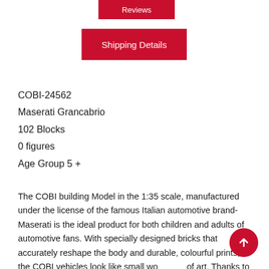Reviews
Shipping Details
COBI-24562
Maserati Grancabrio
102 Blocks
0 figures
Age Group 5 +
The COBI building Model in the 1:35 scale, manufactured under the license of the famous Italian automotive brand-Maserati is the ideal product for both children and adults of automotive fans. With specially designed bricks that accurately reshape the body and durable, colourful prints, the COBI vehicles look like small works of art. Thanks to the sturdy construction and the movable wheel on special rubber tires, the cars are also ideal as a toy.